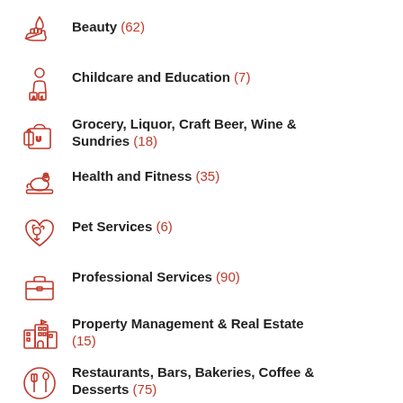Beauty (62)
Childcare and Education (7)
Grocery, Liquor, Craft Beer, Wine & Sundries (18)
Health and Fitness (35)
Pet Services (6)
Professional Services (90)
Property Management & Real Estate (15)
Restaurants, Bars, Bakeries, Coffee & Desserts (75)